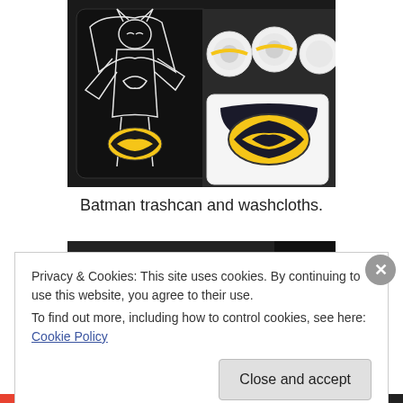[Figure (photo): A black Batman-themed trashcan with white line art of Batman on the side, alongside rolled white washcloths with yellow Batman logos, and a Batman oval logo piece in the foreground, displayed on a dark surface.]
Batman trashcan and washcloths.
[Figure (photo): Partial view of a second photo partially obscured by the cookie consent banner.]
Privacy & Cookies: This site uses cookies. By continuing to use this website, you agree to their use.
To find out more, including how to control cookies, see here: Cookie Policy
Close and accept